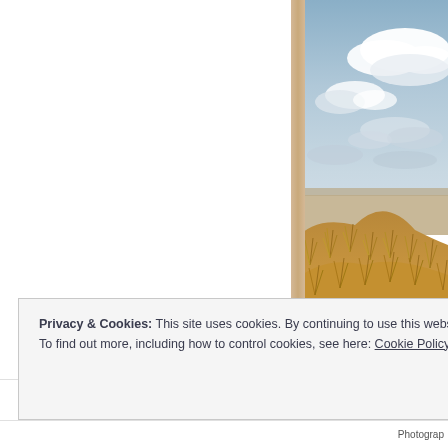[Figure (photo): Photograph of coastal sand dunes with dry golden grass in the foreground and a dramatic cloudy sky over a flat beach/sea in the background. A tan/beige vertical spine or book border is visible on the left edge of the photo.]
Privacy & Cookies: This site uses cookies. By continuing to use this website, you agree to their use.
To find out more, including how to control cookies, see here: Cookie Policy
Close and accept
Photograp